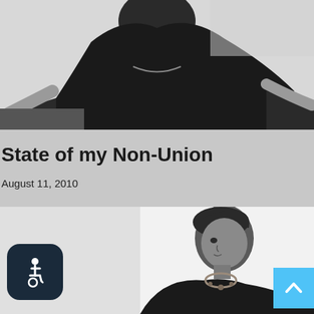[Figure (photo): Black and white blurred photo of a person in a dark top, upper body shot against a light background, leaning or reaching.]
State of my Non-Union
August 11, 2010
[Figure (photo): Black and white blurred photo of a person with short dark hair in profile, wearing a dark top with a necklace, against a light background.]
[Figure (other): Accessibility icon button - dark navy rounded rectangle with white wheelchair user symbol.]
[Figure (other): Scroll to top button - light blue square with white upward chevron arrow.]